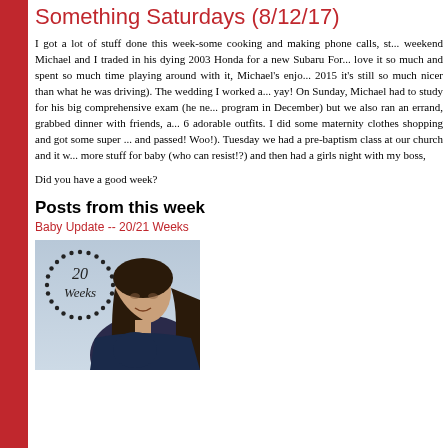Something Saturdays (8/12/17)
I got a lot of stuff done this week-some cooking and making phone calls, st... weekend Michael and I traded in his dying 2003 Honda for a new Subaru For... love it so much and spent so much time playing around with it, Michael's enjo... 2015 it's still so much nicer than what he was driving). The wedding I worked a... yay! On Sunday, Michael had to study for his big comprehensive exam (he ne... program in December) but we also ran an errand, grabbed dinner with friends, a... 6 adorable outfits. I did some maternity clothes shopping and got some super ... and passed! Woo!). Tuesday we had a pre-baptism class at our church and it w... more stuff for baby (who can resist!?) and then had a girls night with my boss,
Did you have a good week?
Posts from this week
Baby Update -- 20/21 Weeks
[Figure (photo): A pregnant woman smiling, wearing a dark top, with a '20 Weeks' dotted circle overlay graphic on the left side of the image. Light blue/grey background.]